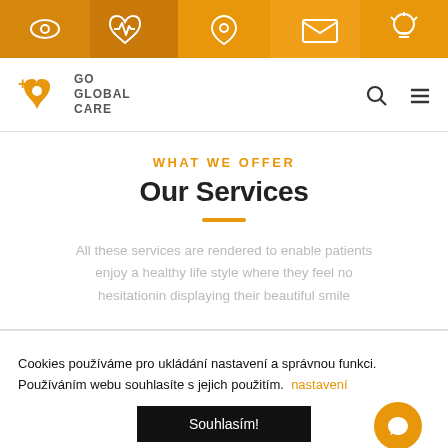[Figure (other): Navigation icon bar with 5 white icons on orange/amber gradient background: eye, heart-pulse, location pin, envelope, lightbulb]
[Figure (logo): Go Global Care logo with orange plus/heart location pin icon and text GO GLOBAL CARE, with search and hamburger menu icons on right]
What We Offer
Our Services
All these services are rendered to enable patients enjoy a healthy life style where they feel no hesitationin displaying their beautiful smile
Cookies používáme pro ukládání nastavení a správnou funkci. Používáním webu souhlasíte s jejich použitím. nastavení
Souhlasím!